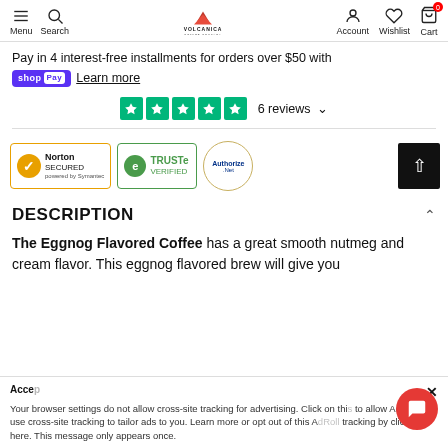Menu Search | VOLCANICA COFFEE COMPANY | Account Wishlist Cart
Pay in 4 interest-free installments for orders over $50 with shop Pay Learn more
[Figure (other): Trustpilot 5-star rating row: 5 green star boxes, '6 reviews' with dropdown arrow]
[Figure (other): Trust badges row: Norton Secured powered by Symantec, TRUSTe Verified, Authorize.Net, and scroll-to-top button]
DESCRIPTION
The Eggnog Flavored Coffee has a great smooth nutmeg and cream flavor. This eggnog flavored brew will give you
Your browser settings do not allow cross-site tracking for advertising. Click on this to allow AdRoll to use cross-site tracking to tailor ads to you. Learn more or opt out of this AdRoll tracking by clicking here. This message only appears once.